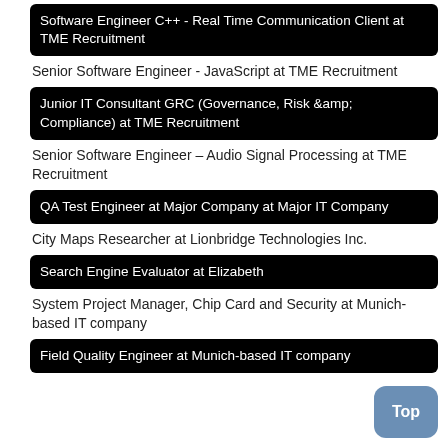Software Engineer C++ - Real Time Communication Client at TME Recruitment
Senior Software Engineer - JavaScript at TME Recruitment
Junior IT Consultant GRC (Governance, Risk &amp; Compliance) at TME Recruitment
Senior Software Engineer – Audio Signal Processing at TME Recruitment
QA Test Engineer at Major Company at Major IT Company
City Maps Researcher at Lionbridge Technologies Inc.
Search Engine Evaluator at Elizabeth
System Project Manager, Chip Card and Security at Munich-based IT company
Field Quality Engineer at Munich-based IT company
Top